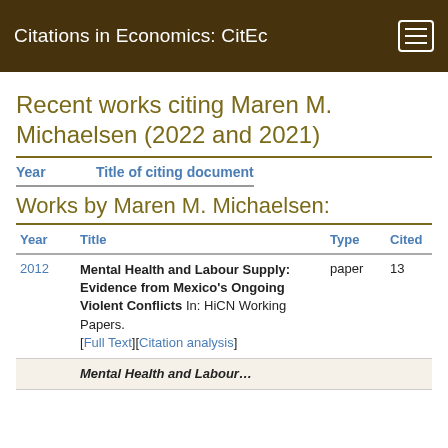Citations in Economics: CitEc
Recent works citing Maren M. Michaelsen (2022 and 2021)
Year   Title of citing document
Works by Maren M. Michaelsen:
| Year | Title | Type | Cited |
| --- | --- | --- | --- |
| 2012 | Mental Health and Labour Supply: Evidence from Mexico's Ongoing Violent Conflicts In: HiCN Working Papers. [Full Text][Citation analysis] | paper | 13 |
|  | Mental Health and Labour… |  |  |